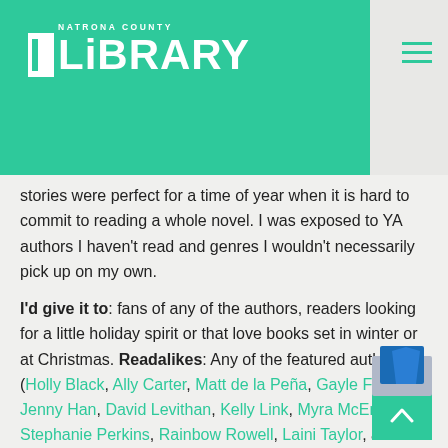NATRONA COUNTY LIBRARY
stories were perfect for a time of year when it is hard to commit to reading a whole novel.  I was exposed to YA authors  I haven't read and genres  I wouldn't necessarily pick up on my own.
I'd give it to: fans of any of the authors, readers looking for a little holiday spirit or that love books set in winter or at Christmas.  Readalikes: Any of the featured authors (Holly Black, Ally Carter, Matt de la Peña, Gayle Forman, Jenny Han, David Levithan, Kelly Link, Myra McEntire, Stephanie Perkins, Rainbow Rowell, Laini Taylor, and Kiersten White). Let It Snow: three holiday romances by